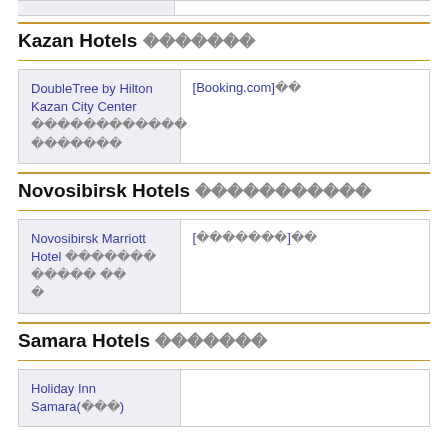Kazan Hotels
| Hotel Name | Booking |
| --- | --- |
| DoubleTree by Hilton Kazan City Center 　　　　　　　　　　　　 | [Booking.com]　　 |
Novosibirsk Hotels
| Hotel Name | Booking |
| --- | --- |
| Novosibirsk Marriott Hotel 　　　　　　　　　　　　　　　　 | [　　　　　　　]　　 |
Samara Hotels
| Hotel Name | Booking |
| --- | --- |
| Holiday Inn Samara(　　　) |  |